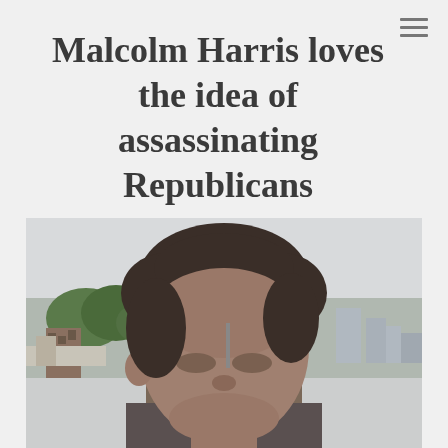Malcolm Harris loves the idea of assassinating Republicans
[Figure (photo): Close-up photo of a young man with dark brown hair, outdoors on a rooftop or elevated area, with trees, brick buildings, and a city skyline visible in the background under an overcast sky.]